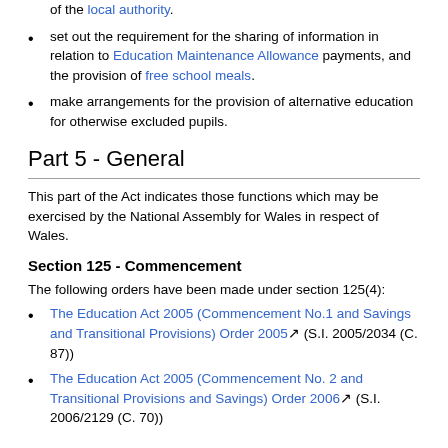of the local authority.
set out the requirement for the sharing of information in relation to Education Maintenance Allowance payments, and the provision of free school meals.
make arrangements for the provision of alternative education for otherwise excluded pupils.
Part 5 - General
This part of the Act indicates those functions which may be exercised by the National Assembly for Wales in respect of Wales.
Section 125 - Commencement
The following orders have been made under section 125(4):
The Education Act 2005 (Commencement No.1 and Savings and Transitional Provisions) Order 2005 (S.I. 2005/2034 (C. 87))
The Education Act 2005 (Commencement No. 2 and Transitional Provisions and Savings) Order 2006 (S.I. 2006/2129 (C. 70))